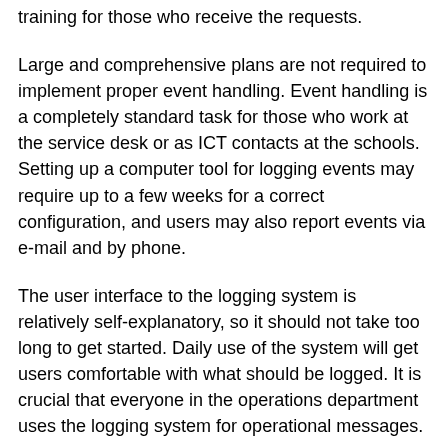training for those who receive the requests.
Large and comprehensive plans are not required to implement proper event handling. Event handling is a completely standard task for those who work at the service desk or as ICT contacts at the schools. Setting up a computer tool for logging events may require up to a few weeks for a correct configuration, and users may also report events via e-mail and by phone.
The user interface to the logging system is relatively self-explanatory, so it should not take too long to get started. Daily use of the system will get users comfortable with what should be logged. It is crucial that everyone in the operations department uses the logging system for operational messages.
Activities related to operational events